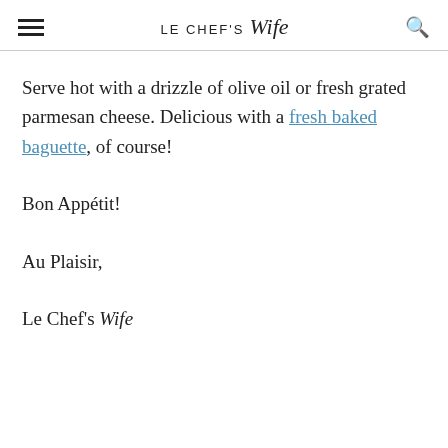LE CHEF'S Wife
Serve hot with a drizzle of olive oil or fresh grated parmesan cheese. Delicious with a fresh baked baguette, of course!
Bon Appétit!
Au Plaisir,
Le Chef's Wife